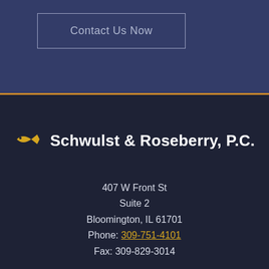[Figure (screenshot): Dark blue header background with faded watermark/background image of courthouse or similar]
Contact Us Now
Schwulst & Roseberry, P.C.
407 W Front St
Suite 2
Bloomington, IL 61701
Phone: 309-751-4101
Fax: 309-829-3014